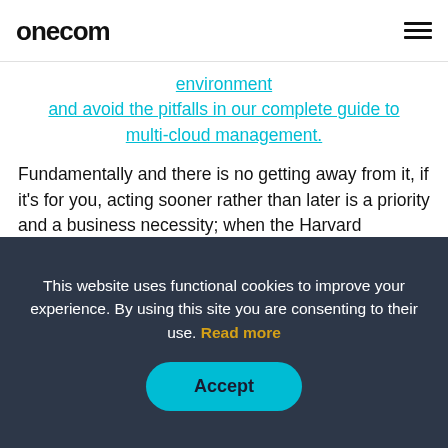onecom
environment and avoid the pitfalls in our complete guide to multi-cloud management.
Fundamentally and there is no getting away from it, if it's for you, acting sooner rather than later is a priority and a business necessity; when the Harvard Business Review publishes a report citing the multiple business benefits of migrating to the
This website uses functional cookies to improve your experience. By using this site you are consenting to their use. Read more
Accept